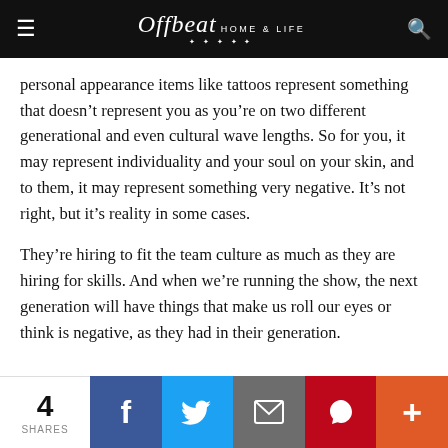Offbeat HOME & LIFE
personal appearance items like tattoos represent something that doesn’t represent you as you’re on two different generational and even cultural wave lengths. So for you, it may represent individuality and your soul on your skin, and to them, it may represent something very negative. It’s not right, but it’s reality in some cases.
They’re hiring to fit the team culture as much as they are hiring for skills. And when we’re running the show, the next generation will have things that make us roll our eyes or think is negative, as they had in their generation.
4 SHARES | Facebook | Twitter | Email | Pinterest | More